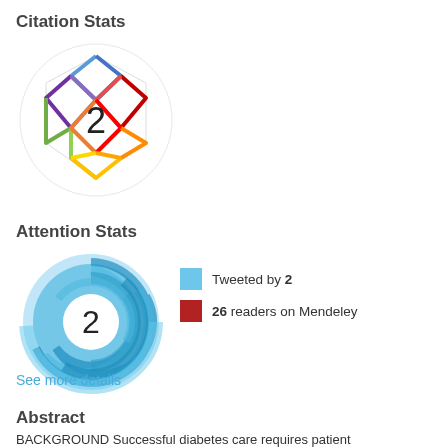Citation Stats
[Figure (other): Colorful polygonal gem/crystal icon with the number 2 in the center, representing citation stats badge]
Attention Stats
[Figure (donut-chart): Circular swirl icon in shades of blue showing attention score of 2 in the center]
Tweeted by 2
26 readers on Mendeley
See more details
Abstract
BACKGROUND Successful diabetes care requires patient